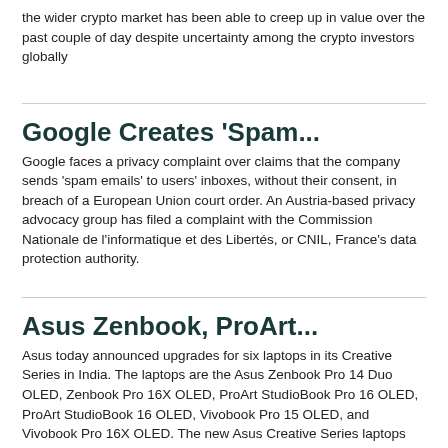the wider crypto market has been able to creep up in value over the past couple of day despite uncertainty among the crypto investors globally
Google Creates 'Spam...
Google faces a privacy complaint over claims that the company sends 'spam emails' to users' inboxes, without their consent, in breach of a European Union court order. An Austria-based privacy advocacy group has filed a complaint with the Commission Nationale de l'informatique et des Libertés, or CNIL, France's data protection authority.
Asus Zenbook, ProArt...
Asus today announced upgrades for six laptops in its Creative Series in India. The laptops are the Asus Zenbook Pro 14 Duo OLED, Zenbook Pro 16X OLED, ProArt StudioBook Pro 16 OLED, ProArt StudioBook 16 OLED, Vivobook Pro 15 OLED, and Vivobook Pro 16X OLED. The new Asus Creative Series laptops will be available via both online and offline